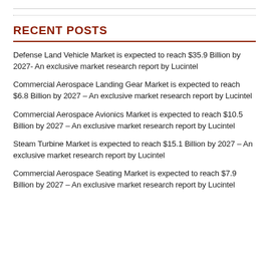RECENT POSTS
Defense Land Vehicle Market is expected to reach $35.9 Billion by 2027- An exclusive market research report by Lucintel
Commercial Aerospace Landing Gear Market is expected to reach $6.8 Billion by 2027 – An exclusive market research report by Lucintel
Commercial Aerospace Avionics Market is expected to reach $10.5 Billion by 2027 – An exclusive market research report by Lucintel
Steam Turbine Market is expected to reach $15.1 Billion by 2027 – An exclusive market research report by Lucintel
Commercial Aerospace Seating Market is expected to reach $7.9 Billion by 2027 – An exclusive market research report by Lucintel